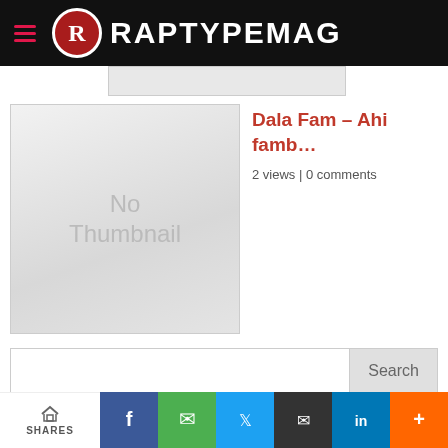RAPTYPEMAG
[Figure (screenshot): No Thumbnail placeholder image — grey box with 'No Thumbnail' text]
Dala Fam – Ahi famb…
2 views | 0 comments
Search
PROMOTE YOUR MUSIC
SHARES | Facebook | WhatsApp | Twitter | Email | LinkedIn | More